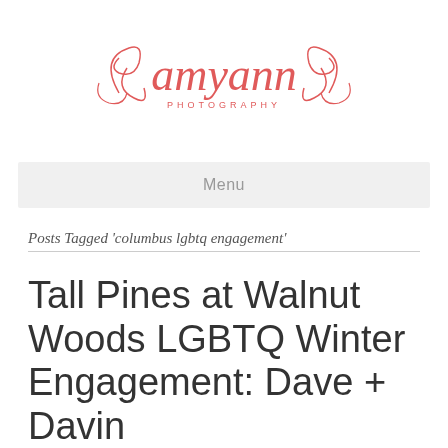[Figure (logo): amyann PHOTOGRAPHY logo in coral/salmon script lettering with decorative swirls]
Menu
Posts Tagged 'columbus lgbtq engagement'
Tall Pines at Walnut Woods LGBTQ Winter Engagement: Dave + Davin
By Amy Ann Photography | February 25, 2020 | 0